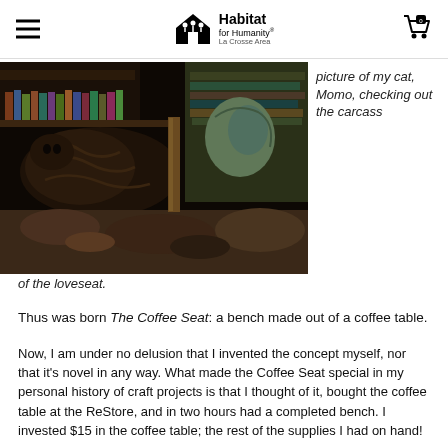Habitat for Humanity La Crosse Area
[Figure (photo): A cat named Momo checking out the carcass of a loveseat, partially disassembled, with books visible on a shelf in the background. Dark, moody interior lighting.]
picture of my cat, Momo, checking out the carcass of the loveseat.
Thus was born The Coffee Seat: a bench made out of a coffee table.
Now, I am under no delusion that I invented the concept myself, nor that it's novel in any way. What made the Coffee Seat special in my personal history of craft projects is that I thought of it, bought the coffee table at the ReStore, and in two hours had a completed bench. I invested $15 in the coffee table; the rest of the supplies I had on hand!